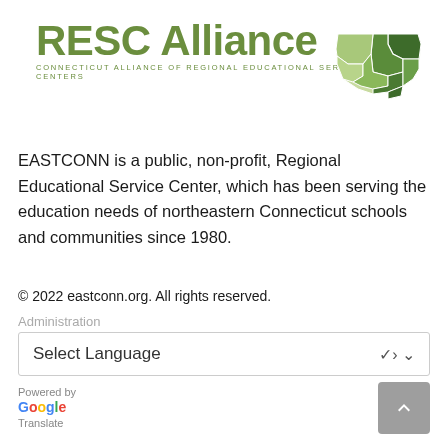[Figure (logo): RESC Alliance logo with Connecticut map graphic. Green text reading 'RESC Alliance' with subtitle 'CONNECTICUT ALLIANCE OF REGIONAL EDUCATIONAL SERVICE CENTERS' and a green map of Connecticut counties.]
EASTCONN is a public, non-profit, Regional Educational Service Center, which has been serving the education needs of northeastern Connecticut schools and communities since 1980.
© 2022 eastconn.org. All rights reserved.
Administration
Select Language
Powered by
Google
Translate